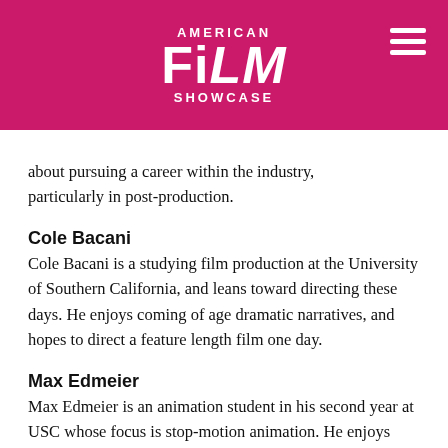AMERICAN FILM SHOWCASE
about pursuing a career within the industry, particularly in post-production.
Cole Bacani
Cole Bacani is a studying film production at the University of Southern California, and leans toward directing these days. He enjoys coming of age dramatic narratives, and hopes to direct a feature length film one day.
Max Edmeier
Max Edmeier is an animation student in his second year at USC whose focus is stop-motion animation. He enjoys action movies, video games, and tennis. His goal is to revolutionize LEGO stop-motion animation and he is high school age or they are driving the